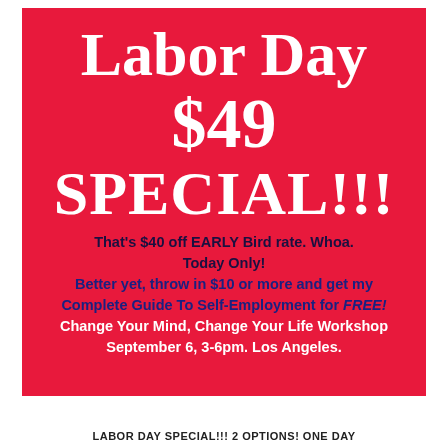Labor Day $49 SPECIAL!!!
That's $40 off EARLY Bird rate. Whoa. Today Only! Better yet, throw in $10 or more and get my Complete Guide To Self-Employment for FREE! Change Your Mind, Change Your Life Workshop September 6, 3-6pm. Los Angeles.
LABOR DAY SPECIAL!!! 2 OPTIONS! ONE DAY